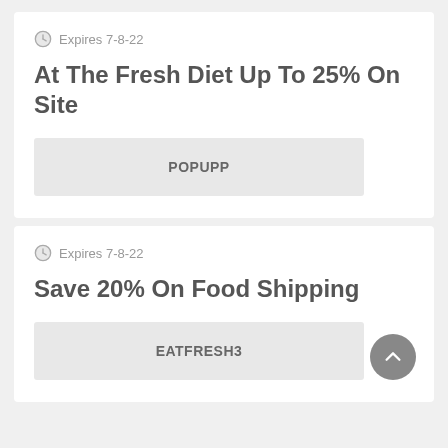Expires 7-8-22
At The Fresh Diet Up To 25% On Site
POPUPP
Expires 7-8-22
Save 20% On Food Shipping
EATFRESH3